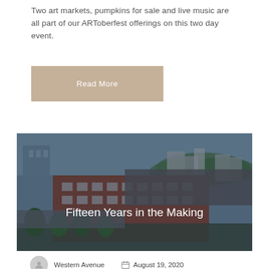Two art markets, pumpkins for sale and live music are all part of our ARToberfest offerings on this two day event.
Read More
[Figure (photo): Aerial view of Western Avenue Studios complex, a large brick industrial building with surrounding parking lots and greenery, with a river and cityscape in the background. Overlay text reads 'Fifteen Years in the Making'.]
Western Avenue
August 19, 2020